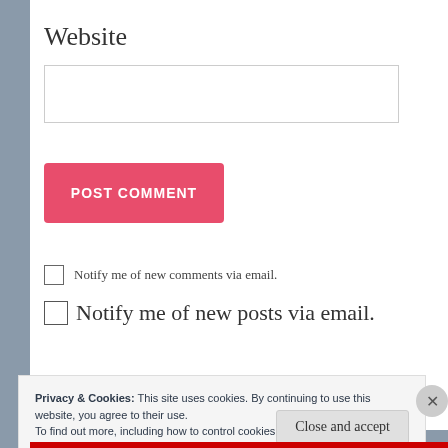Website
POST COMMENT
Notify me of new comments via email.
Notify me of new posts via email.
Privacy & Cookies: This site uses cookies. By continuing to use this website, you agree to their use. To find out more, including how to control cookies, see here: Cookie Policy
Close and accept